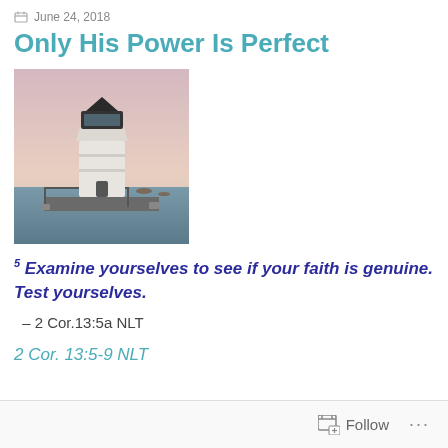June 24, 2018
Only His Power Is Perfect
[Figure (photo): A white lighthouse on a pier with water and a pastel-colored sky in the background.]
5 Examine yourselves to see if your faith is genuine. Test yourselves.
– 2 Cor.13:5a NLT
2 Cor. 13:5-9 NLT
Follow ...